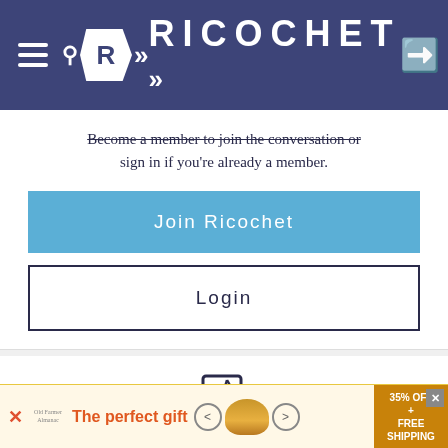RICOCHET
Become a member to join the conversation or sign in if you're already a member.
Join Ricochet
Login
[Figure (illustration): Edit/pencil icon in a square]
HAVE SOMETHING TO SAY?
Join the Conversation
[Figure (infographic): Advertisement banner: The perfect gift, 35% OFF + FREE SHIPPING]